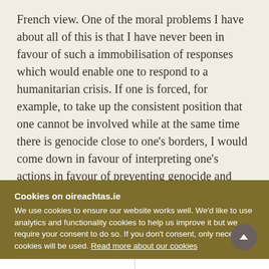French view. One of the moral problems I have about all of this is that I have never been in favour of such a immobilisation of responses which would enable one to respond to a humanitarian crisis. If one is forced, for example, to take up the consistent position that one cannot be involved while at the same time there is genocide close to one's borders, I would come down in favour of interpreting one's actions in favour of preventing genocide and being able to do that. However, that raises the question
Cookies on oireachtas.ie
We use cookies to ensure our website works well. We'd like to use analytics and functionality cookies to help us improve it but we require your consent to do so. If you don't consent, only necessary cookies will be used. Read more about our cookies
Manage cookies
Accept all cookies